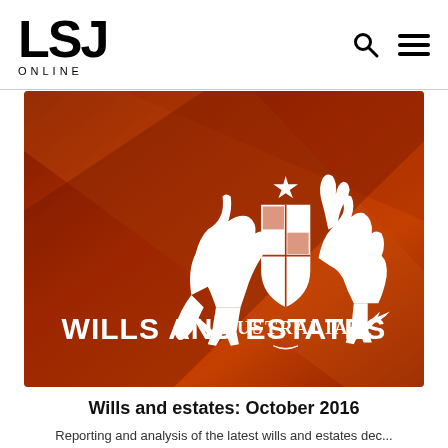LSJ ONLINE
[Figure (illustration): Australian Coat of Arms (kangaroo and emu holding a shield, with AUSTRALIA text and laurel wreath) on a dark red/orange fabric background, with text WILLS AND ESTATES below the crest]
Wills and estates: October 2016
Reporting and analysis of the latest wills and estates decisions